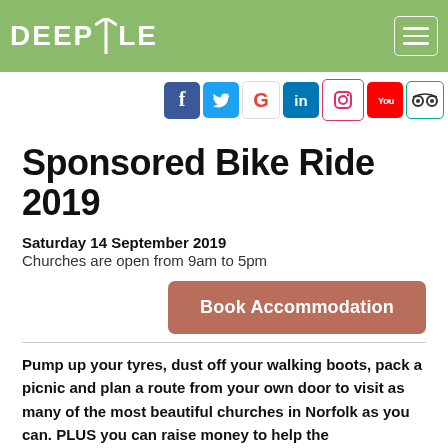DEEPDALE
[Figure (logo): Social media icons row: Facebook, Twitter, Google, LinkedIn, Instagram, YouTube, TripAdvisor]
Sponsored Bike Ride 2019
Saturday 14 September 2019
Churches are open from 9am to 5pm
Book Accommodation
Pump up your tyres, dust off your walking boots, pack a picnic and plan a route from your own door to visit as many of the most beautiful churches in Norfolk as you can. PLUS you can raise money to help the